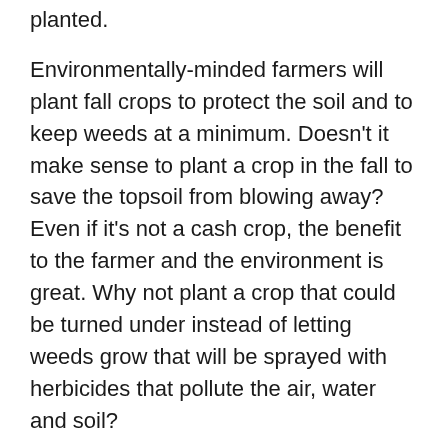planted.
Environmentally-minded farmers will plant fall crops to protect the soil and to keep weeds at a minimum. Doesn't it make sense to plant a crop in the fall to save the topsoil from blowing away? Even if it's not a cash crop, the benefit to the farmer and the environment is great. Why not plant a crop that could be turned under instead of letting weeds grow that will be sprayed with herbicides that pollute the air, water and soil?
Weeds will grow where ever they can. If there is bare land, weeds will try to grow on it. Weeds can be defined as “plants that grow where you don’t want them to grow”. So, anything growing in a farmer’s field that the farmer didn’t plant can be called a weed.